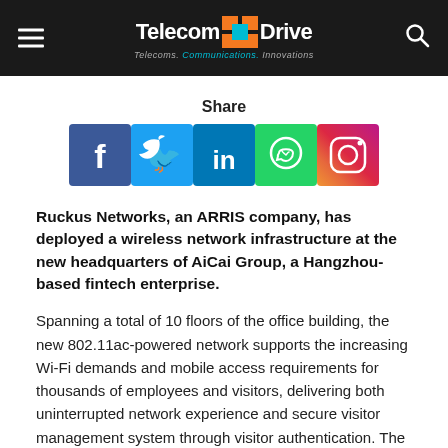TelecomDrive — Telecoms. Communications. Innovations.
Share
[Figure (other): Social media share buttons: Facebook, Twitter, LinkedIn, WhatsApp, Instagram]
Ruckus Networks, an ARRIS company, has deployed a wireless network infrastructure at the new headquarters of AiCai Group, a Hangzhou-based fintech enterprise.
Spanning a total of 10 floors of the office building, the new 802.11ac-powered network supports the increasing Wi-Fi demands and mobile access requirements for thousands of employees and visitors, delivering both uninterrupted network experience and secure visitor management system through visitor authentication. The stable and reliable wireless